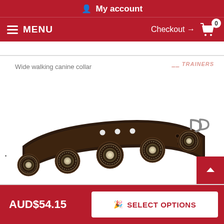My account
MENU  Checkout → 0
Wide walking canine collar
[Figure (photo): Dark brown leather dog collar with decorative silver concho studs along the front, metal D-rings and holes visible, displayed flat on white background. Watermark reading TRAINERS in upper right.]
AUD$54.15  SELECT OPTIONS